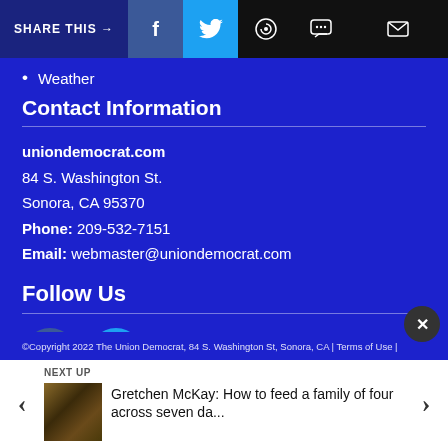SHARE THIS →  f  🐦  ⊕  💬  ✉
Weather
Contact Information
uniondemocrat.com
84 S. Washington St.
Sonora, CA 95370
Phone: 209-532-7151
Email: webmaster@uniondemocrat.com
Follow Us
[Figure (logo): Facebook and Twitter social media circle icon buttons]
©Copyright 2022 The Union Democrat, 84 S. Washington St, Sonora, CA | Terms of Use |
NEXT UP
Gretchen McKay: How to feed a family of four across seven da...